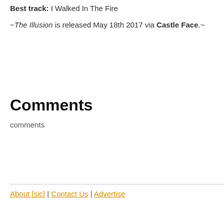Best track: I Walked In The Fire
~The Illusion is released May 18th 2017 via Castle Face.~
Comments
comments
About [sic] | Contact Us | Advertise